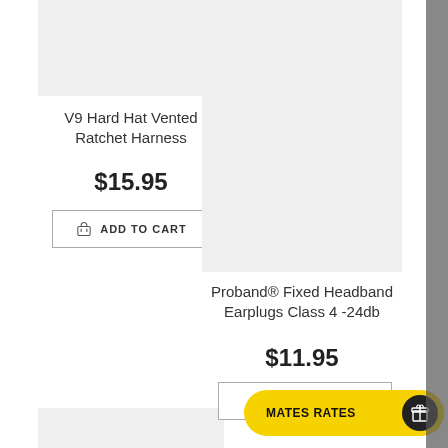[Figure (photo): Product image placeholder for V9 Hard Hat Vented Ratchet Harness (light gray box)]
V9 Hard Hat Vented Ratchet Harness
$15.95
ADD TO CART
[Figure (photo): Product image placeholder for Proband Fixed Headband Earplugs (light gray box)]
Proband® Fixed Headband Earplugs Class 4 -24db
$11.95
ADD TO CART
MATES RATES